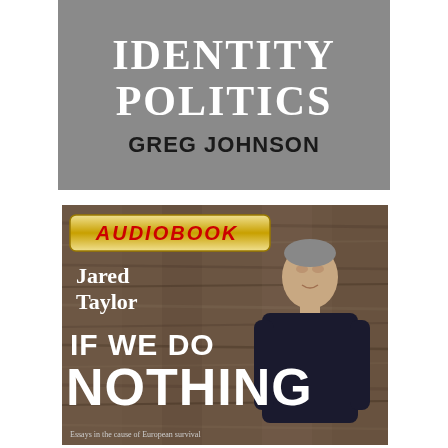[Figure (illustration): Top book cover with gray background showing title 'IDENTITY POLITICS' in large white serif text and author 'GREG JOHNSON' in bold black sans-serif text below]
[Figure (illustration): Bottom audiobook cover for 'If We Do Nothing' by Jared Taylor with wood plank background, man in black shirt photo, gold 'AUDIOBOOK' banner at top in red italic text, author name 'Jared Taylor' in white, and large white bold title 'IF WE DO NOTHING']